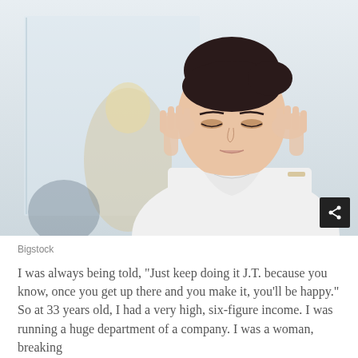[Figure (photo): A young professional woman in a white blouse holding her temples with both hands, eyes downcast, appearing stressed. Blurred background shows an office setting with another person visible out of focus.]
Bigstock
I was always being told, "Just keep doing it J.T. because you know, once you get up there and you make it, you'll be happy." So at 33 years old, I had a very high, six-figure income. I was running a huge department of a company. I was a woman, breaking